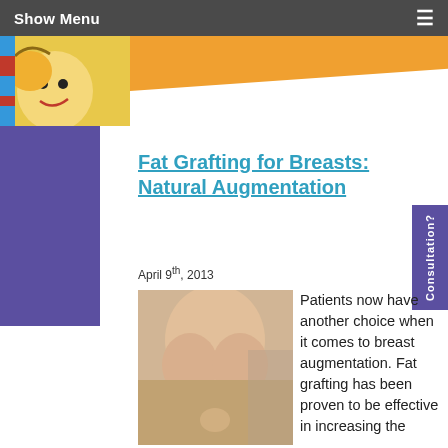Show Menu
Fat Grafting for Breasts: Natural Augmentation
April 9th, 2013
[Figure (photo): Medical photo showing female torso for breast augmentation article]
Patients now have another choice when it comes to breast augmentation. Fat grafting has been proven to be effective in increasing the